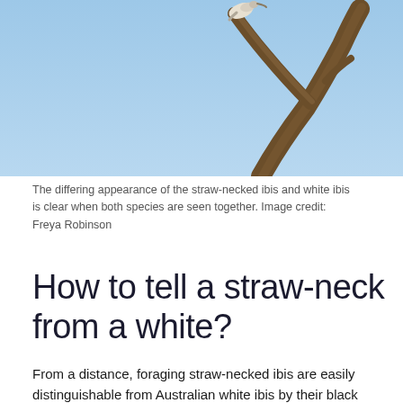[Figure (photo): Photo of a bird (straw-necked ibis or white ibis) perched on a dead tree branch against a light blue sky]
The differing appearance of the straw-necked ibis and white ibis is clear when both species are seen together. Image credit: Freya Robinson
How to tell a straw-neck from a white?
From a distance, foraging straw-necked ibis are easily distinguishable from Australian white ibis by their black wings and back. Viewed closer, straw-necked ibis have